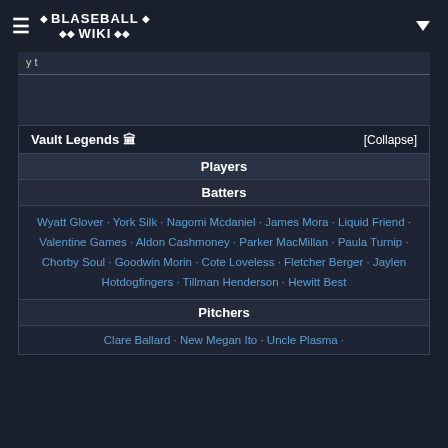BLASEBALL WIKI
y t
Vault Legends 🏛 [Collapse]
Players
Batters
Wyatt Glover · York Silk · Nagomi Mcdaniel · James Mora · Liquid Friend · Valentine Games · Aldon Cashmoney · Parker MacMillan · Paula Turnip · Chorby Soul · Goodwin Morin · Cote Loveless · Fletcher Berger · Jaylen Hotdogfingers · Tillman Henderson · Hewitt Best
Pitchers
Clare Ballard · New Megan Ito · Uncle Plasma ·